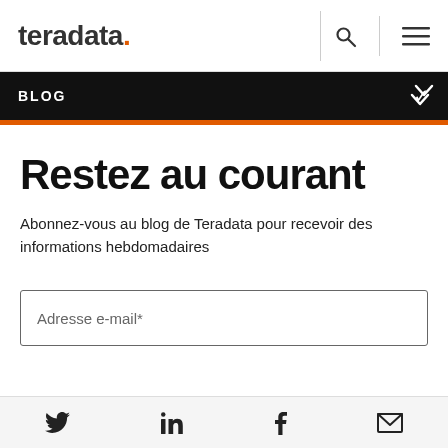teradata. [search icon] [menu icon]
BLOG
Restez au courant
Abonnez-vous au blog de Teradata pour recevoir des informations hebdomadaires
Adresse e-mail*
[Twitter] [LinkedIn] [Facebook] [Email]